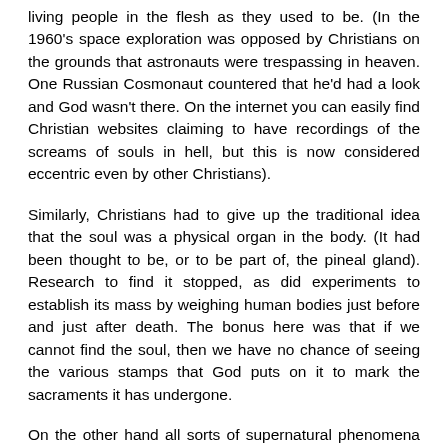living people in the flesh as they used to be. (In the 1960's space exploration was opposed by Christians on the grounds that astronauts were trespassing in heaven. One Russian Cosmonaut countered that he'd had a look and God wasn't there. On the internet you can easily find Christian websites claiming to have recordings of the screams of souls in hell, but this is now considered eccentric even by other Christians).
Similarly, Christians had to give up the traditional idea that the soul was a physical organ in the body. (It had been thought to be, or to be part of, the pineal gland). Research to find it stopped, as did experiments to establish its mass by weighing human bodies just before and just after death. The bonus here was that if we cannot find the soul, then we have no chance of seeing the various stamps that God puts on it to mark the sacraments it has undergone.
On the other hand all sorts of supernatural phenomena are able to remain on the grounds that they are not physical. So we can keep angels, demons, ghosts, sanctification, transubstantiation, life-after-death, and religious experiences